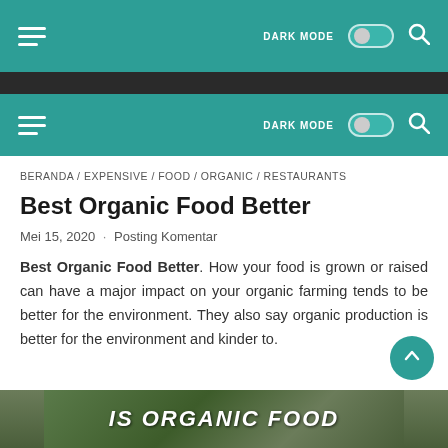DARK MODE [toggle] [search]
DARK MODE [toggle] [search]
BERANDA / EXPENSIVE / FOOD / ORGANIC / RESTAURANTS
Best Organic Food Better
Mei 15, 2020 · Posting Komentar
Best Organic Food Better. How your food is grown or raised can have a major impact on your organic farming tends to be better for the environment. They also say organic production is better for the environment and kinder to.
[Figure (photo): Partial image at bottom with text 'IS ORGANIC FOOD' visible]